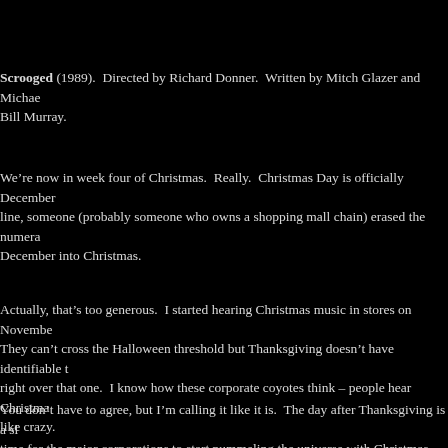Scrooged (1989).  Directed by Richard Donner.  Written by Mitch Glazer and Michael O'Donoghue.  Starring Bill Murray.
We're now in week four of Christmas.  Really.  Christmas Day is officially December 25, but somewhere along the line, someone (probably someone who owns a shopping mall chain) erased the numerical boundary and turned all of December into Christmas.
Actually, that's too generous.  I started hearing Christmas music in stores on November 1.  November 1!  They can't cross the Halloween threshold but Thanksgiving doesn't have identifiable tunes so they just hop right over that one.  I know how these corporate coyotes think – people hear Christmas music and they spend like crazy.
You don't have to agree, but I'm calling it like it is.  The day after Thanksgiving is a shameless orgy of a time for the major corporations to start pummeling the universe with Christmas songs